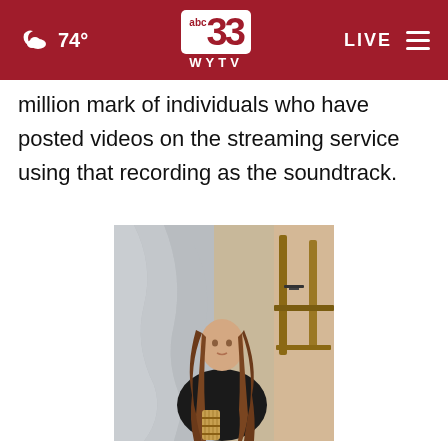74° abc 33 WYTV | LIVE
million mark of individuals who have posted videos on the streaming service using that recording as the soundtrack.
[Figure (photo): Woman with long curly brown hair wearing a black blazer, sitting and holding a guitar, in a studio or storage space with draped plastic sheeting and wooden frames in the background.]